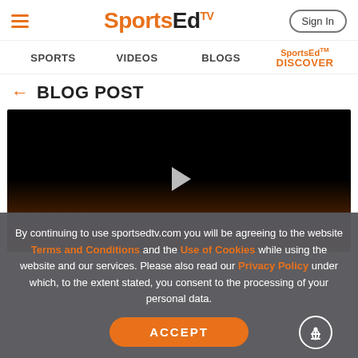SportsEdTV — Sign In
SPORTS   VIDEOS   BLOGS   SportsEd TV DISCOVER
← BLOG POST
[Figure (screenshot): Black video player with a play button in the center and orange gradient at the bottom]
By continuing to use sportsedtv.com you will be agreeing to the website Terms and Conditions and the Use of Cookies while using the website and our services. Please also read our Privacy Policy under which, to the extent stated, you consent to the processing of your personal data.
ACCEPT